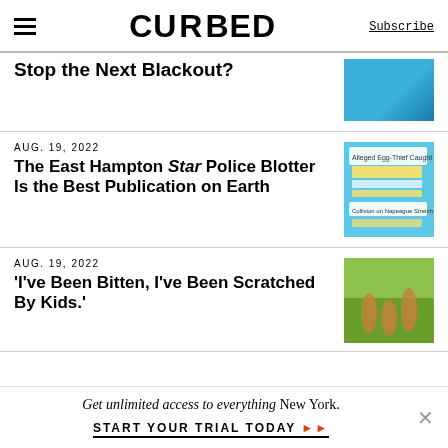CURBED | Subscribe
Stop the Next Blackout?
AUG. 19, 2022
The East Hampton Star Police Blotter Is the Best Publication on Earth
AUG. 19, 2022
'I've Been Bitten, I've Been Scratched By Kids.'
Get unlimited access to everything New York. START YOUR TRIAL TODAY